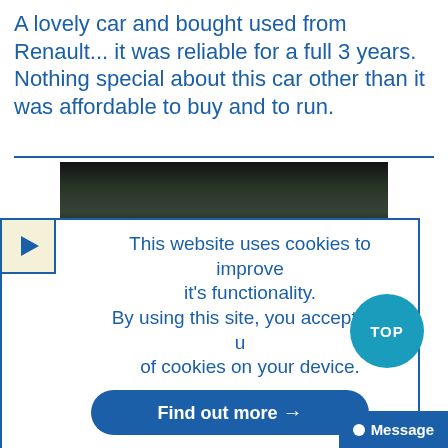A lovely car and bought used from Renault... it was reliable for a full 3 years. Nothing special about this car other than it was affordable to buy and to run.
[Figure (photo): Dark photograph of trees in a park or outdoor scene, partially visible behind cookie consent overlay]
This website uses cookies to improve it's functionality. By using this site, you accept the use of cookies on your device.
Find out more →
✓ Accept and Close
Message